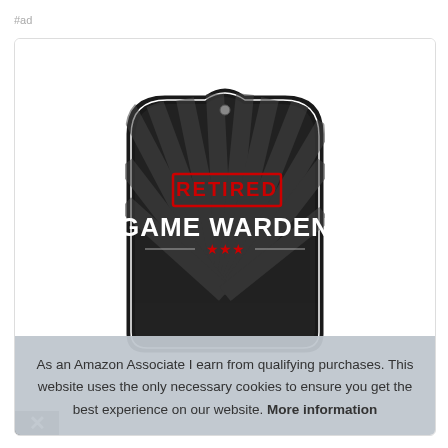#ad
[Figure (photo): Decorative sign on black background with radiating sunburst pattern. Red stamp reading 'RETIRED' above large white bold text 'GAME WARDEN' with three red stars and a horizontal line beneath, on a shield/crest shaped sign.]
As an Amazon Associate I earn from qualifying purchases. This website uses the only necessary cookies to ensure you get the best experience on our website. More information